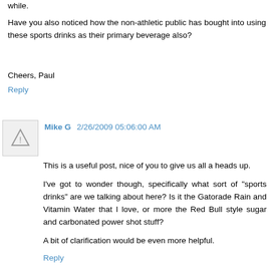while.
Have you also noticed how the non-athletic public has bought into using these sports drinks as their primary beverage also?
Cheers, Paul
Reply
Mike G  2/26/2009 05:06:00 AM
This is a useful post, nice of you to give us all a heads up.
I've got to wonder though, specifically what sort of "sports drinks" are we talking about here? Is it the Gatorade Rain and Vitamin Water that I love, or more the Red Bull style sugar and carbonated power shot stuff?
A bit of clarification would be even more helpful.
Reply